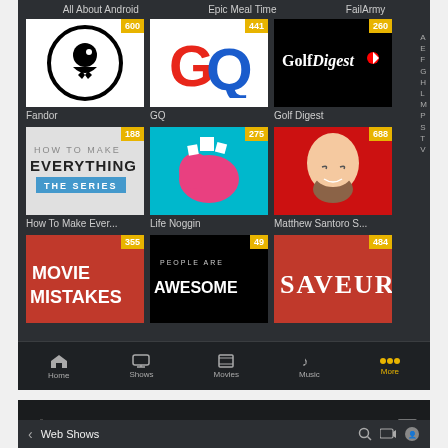[Figure (screenshot): Mobile app screenshot showing a YouTube-style channel browser with dark UI. Top row labels: All About Android, Epic Meal Time, FailArmy. Second row: Fandor (600), GQ (441), Golf Digest (260). Third row: How To Make Ever... (188), Life Noggin (275), Matthew Santoro S... (688). Partial fourth row: Movie Mistakes (355), People Are Awesome (49), Saveur (484). Bottom nav bar with Home, Shows, Movies, Music, More tabs.]
[Figure (screenshot): Mobile status bar showing T-Mobile Wi-Fi, 10:31 AM, 94% battery. Navigation bar with back button and Web Shows title.]